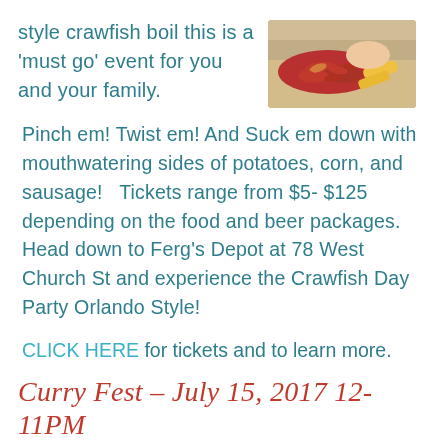style crawfish boil this is a 'must go' event for you and your family.
[Figure (photo): Photo of crawfish/seafood boil with red crawfish and corn on a table, hands visible]
Pinch em! Twist em! And Suck em down with mouthwatering sides of potatoes, corn, and sausage!   Tickets range from $5- $125 depending on the food and beer packages. Head down to Ferg's Depot at 78 West Church St and experience the Crawfish Day Party Orlando Style!
CLICK HERE for tickets and to learn more.
Curry Fest – July 15, 2017 12-11PM